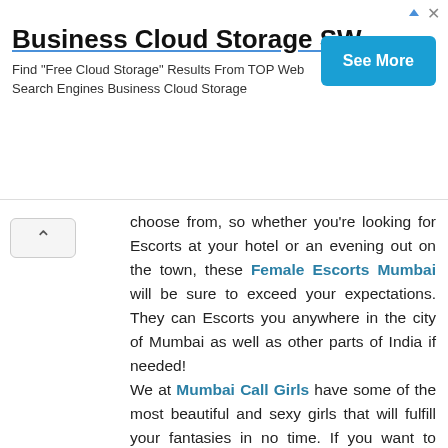[Figure (screenshot): Advertisement banner for Business Cloud Storage SW with 'See More' button]
choose from, so whether you're looking for Escorts at your hotel or an evening out on the town, these Female Escorts Mumbai will be sure to exceed your expectations. They can Escorts you anywhere in the city of Mumbai as well as other parts of India if needed!
We at Mumbai Call Girls have some of the most beautiful and sexy girls that will fulfill your fantasies in no time. If you want to know more about our services, feel free to contact us!
Reply
AditiRay 13 August 2021 at 03:58
This comment has been removed by the author.
Reply